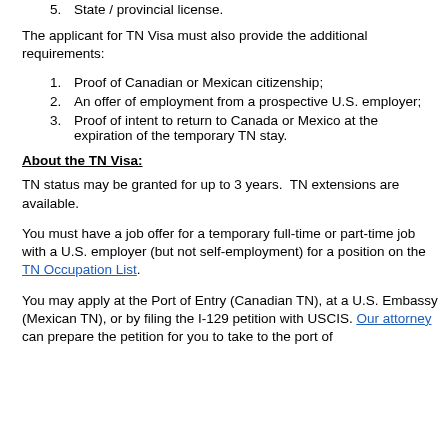5. State / provincial license.
The applicant for TN Visa must also provide the additional requirements:
1. Proof of Canadian or Mexican citizenship;
2. An offer of employment from a prospective U.S. employer;
3. Proof of intent to return to Canada or Mexico at the expiration of the temporary TN stay.
About the TN Visa:
TN status may be granted for up to 3 years.  TN extensions are available.
You must have a job offer for a temporary full-time or part-time job with a U.S. employer (but not self-employment) for a position on the TN Occupation List.
You may apply at the Port of Entry (Canadian TN), at a U.S. Embassy (Mexican TN), or by filing the I-129 petition with USCIS. Our attorney can prepare the petition for you to take to the port of